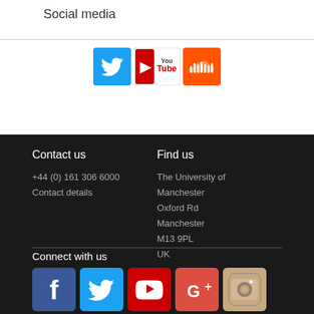Social media
[Figure (logo): Twitter, YouTube, and SoundCloud social media icons]
Contact us
+44 (0) 161 306 6000
Contact details
Find us
The University of Manchester
Oxford Rd
Manchester
M13 9PL
UK
Connect with us
[Figure (logo): Facebook, Twitter, YouTube, Google+, and Instagram social media icons]